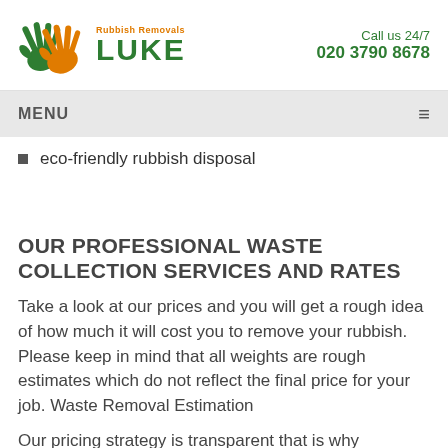Rubbish Removals LUKE | Call us 24/7 020 3790 8678
MENU
eco-friendly rubbish disposal
OUR PROFESSIONAL WASTE COLLECTION SERVICES AND RATES
Take a look at our prices and you will get a rough idea of how much it will cost you to remove your rubbish. Please keep in mind that all weights are rough estimates which do not reflect the final price for your job. Waste Removal Estimation
Our pricing strategy is transparent that is why